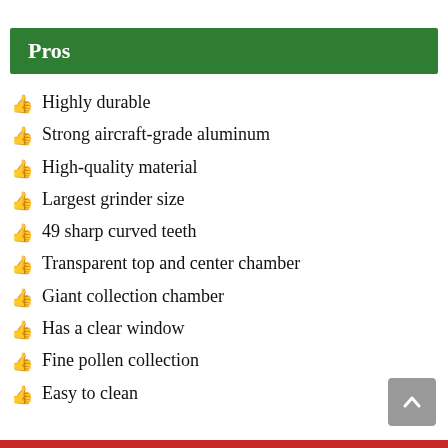Pros
Highly durable
Strong aircraft-grade aluminum
High-quality material
Largest grinder size
49 sharp curved teeth
Transparent top and center chamber
Giant collection chamber
Has a clear window
Fine pollen collection
Easy to clean